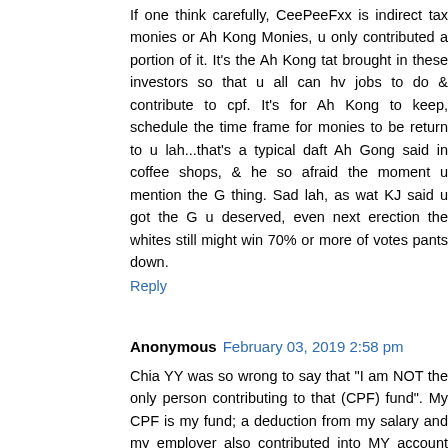If one think carefully, CeePeeFxx is indirect tax monies or Ah Kong Monies, u only contributed a portion of it. It's the Ah Kong tat brought in these investors so that u all can hv jobs to do & contribute to cpf. It's for Ah Kong to keep, schedule the time frame for monies to be return to u lah...that's a typical daft Ah Gong said in coffee shops, & he so afraid the moment u mention the G thing. Sad lah, as wat KJ said u got the G u deserved, even next erection the whites still might win 70% or more of votes pants down.
Reply
Anonymous February 03, 2019 2:58 pm
Chia YY was so wrong to say that "I am NOT the only person contributing to that (CPF) fund". My CPF is my fund; a deduction from my salary and my employer also contributed into MY account ON MY BEHALF. My CPF belongs to me, and me alone, YY. And only I alone should decide how to spend it after withdrawal @ 55 years old. IT MUST BE MY CHOICE ALONE WHETHER TO LEAVE IT IN THE CPF after 55 TO EARN MORE INTERESTS!